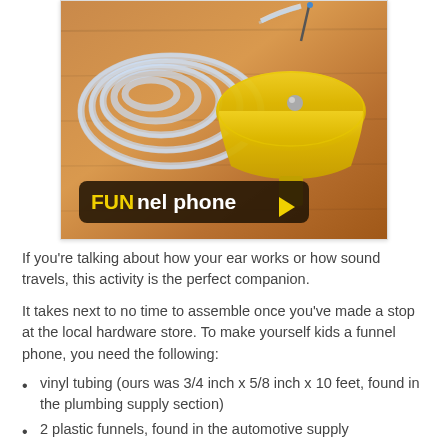[Figure (photo): Photo of a yellow plastic funnel and clear vinyl tubing coiled on a wooden surface, with a dark rounded banner overlay reading 'FUNnel phone ►']
If you're talking about how your ear works or how sound travels, this activity is the perfect companion.
It takes next to no time to assemble once you've made a stop at the local hardware store. To make yourself kids a funnel phone, you need the following:
vinyl tubing (ours was 3/4 inch x 5/8 inch x 10 feet, found in the plumbing supply section)
2 plastic funnels, found in the automotive supply